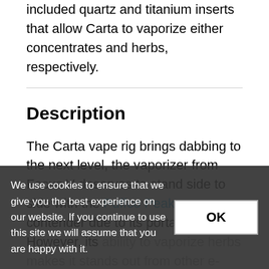included quartz and titanium inserts that allow Carta to vaporize either concentrates and herbs, respectively.
Description
The Carta vape rig brings dabbing to the next level, the vaporizer from Focus V deserves to stand side to side with the Puffco Peak as contender due to its portable nature. However, its ability to vaporize herbs makes it stands out from other e-rigs. one reason is that its a 2-in-1 device that allows you to switch from wax to dry herbs quickly. On the other hand, it comes with two removable batteries.